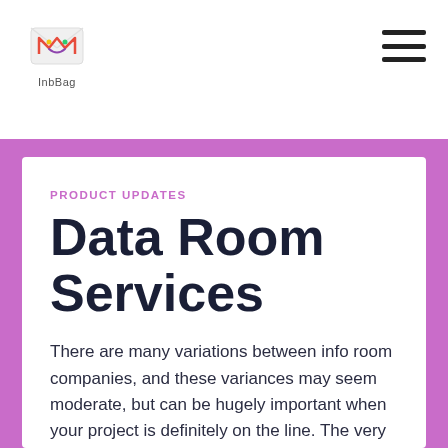[Figure (logo): InbBag logo - colorful envelope icon with smiley face, with text 'InbBag' below]
[Figure (other): Hamburger menu icon - three horizontal dark lines]
PRODUCT UPDATES
Data Room Services
There are many variations between info room companies, and these variances may seem moderate, but can be hugely important when your project is definitely on the line. The very first thing